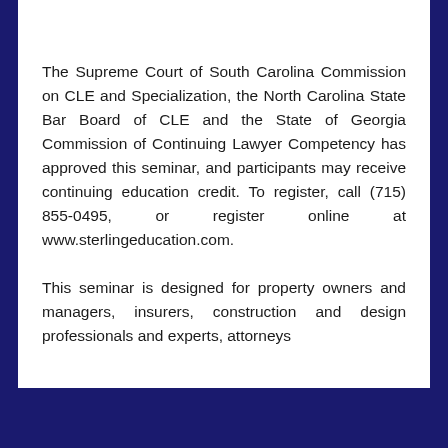The Supreme Court of South Carolina Commission on CLE and Specialization, the North Carolina State Bar Board of CLE and the State of Georgia Commission of Continuing Lawyer Competency has approved this seminar, and participants may receive continuing education credit. To register, call (715) 855-0495, or register online at www.sterlingeducation.com.
This seminar is designed for property owners and managers, insurers, construction and design professionals and experts, attorneys...